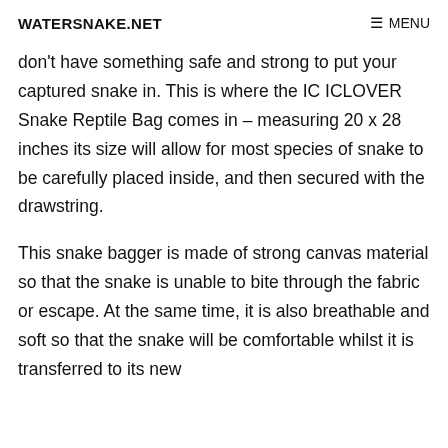WATERSNAKE.NET  ☰ MENU
don't have something safe and strong to put your captured snake in. This is where the IC ICLOVER Snake Reptile Bag comes in – measuring 20 x 28 inches its size will allow for most species of snake to be carefully placed inside, and then secured with the drawstring.
This snake bagger is made of strong canvas material so that the snake is unable to bite through the fabric or escape. At the same time, it is also breathable and soft so that the snake will be comfortable whilst it is transferred to its new